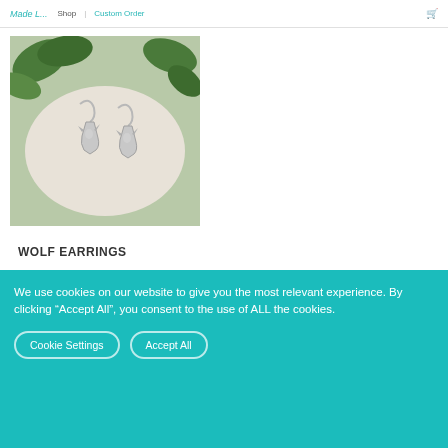Made... | Shop | Custom Order
[Figure (photo): Silver wolf-shaped dangle earrings displayed on a white fabric surface with green leaves in the background.]
WOLF EARRINGS
We use cookies on our website to give you the most relevant experience. By clicking “Accept All”, you consent to the use of ALL the cookies.
Cookie Settings  Accept All